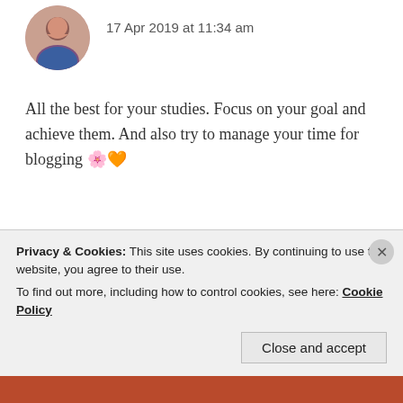[Figure (photo): Circular avatar photo of a woman smiling, with dark hair, wearing blue clothing.]
17 Apr 2019 at 11:34 am
All the best for your studies. Focus on your goal and achieve them. And also try to manage your time for blogging 🌸🧡
★ Liked by 1 person
REPLY
[Figure (photo): Circular avatar icon with dark reddish-brown background, vinyl record or abstract pattern.]
ZEALOUS HOMO SAPIENS
Privacy & Cookies: This site uses cookies. By continuing to use this website, you agree to their use. To find out more, including how to control cookies, see here: Cookie Policy
Close and accept